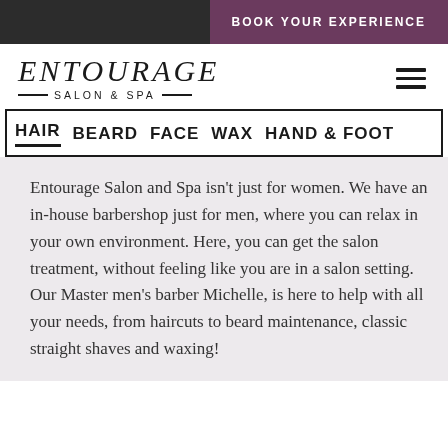BOOK YOUR EXPERIENCE
[Figure (logo): Entourage Salon & Spa logo with stylized italic text and decorative dashes]
HAIR  BEARD  FACE  WAX  HAND & FOOT
Entourage Salon and Spa isn't just for women. We have an in-house barbershop just for men, where you can relax in your own environment. Here, you can get the salon treatment, without feeling like you are in a salon setting. Our Master men's barber Michelle, is here to help with all your needs, from haircuts to beard maintenance, classic straight shaves and waxing!